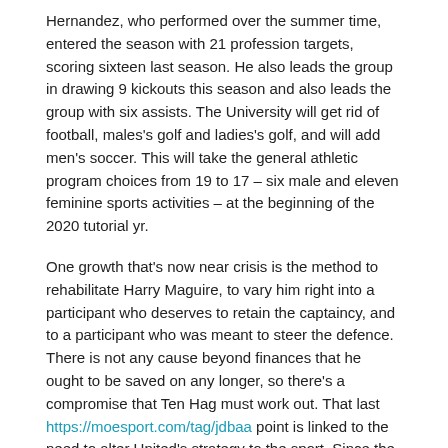Hernandez, who performed over the summer time, entered the season with 21 profession targets, scoring sixteen last season. He also leads the group in drawing 9 kickouts this season and also leads the group with six assists. The University will get rid of football, males's golf and ladies's golf, and will add men's soccer. This will take the general athletic program choices from 19 to 17 – six male and eleven feminine sports activities – at the beginning of the 2020 tutorial yr.
One growth that's now near crisis is the method to rehabilitate Harry Maguire, to vary him right into a participant who deserves to retain the captaincy, and to a participant who was meant to steer the defence. There is not any cause beyond finances that he ought to be saved on any longer, so there's a compromise that Ten Hag must work out. That last https://moesport.com/tag/jdbaa point is linked to the need to alter United's strategy to the sport. Since the arrival of Louis van Gaal, the team have been stilted in possession, and because the appointment of David Moyes earlier than him, they've had no helpful attacking teaching. They will go from having no direction to getting directions from a supervisor who is supposed to supply targeted tactical classes to his group. 4raBet presents you all of your favourite
To read more about Get More Information visit look at these guys